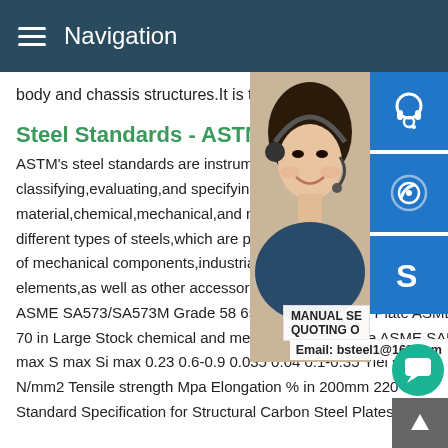Navigation
body and chassis structures.It is the backb vehicle.In cars,these days,steel makes up
Steel Standards - ASTM Inter
ASTM's steel standards are instrumental i classifying,evaluating,and specifying the material,chemical,mechanical,and metallu different types of steels,which are primarily of mechanical components,industrial parts elements,as well as other accessories rela ASME SA573/SA573M Grade 58 65 70 in LargeSteel Plate ASME SA573/SA573M Grade 58 65 70 in Large Stock chemical and mechanical propertise ASME SA573 Grade 58 C max Mn max P max S max Si max 0.23 0.6-0.9 0.035 0.04 0.1-0.35 Yiel stren N/mm2 Tensile strength Mpa Elongation % in 200mm 220 415 Standard Specification for Structural Carbon Steel PlatesIf the
[Figure (photo): Customer service representative woman with headset, smiling]
[Figure (infographic): Three blue icon buttons: customer service headset, phone/call, Skype icons; plus MANUAL SERVICE and QUOTING O overlays, Email: bsteel1@163.com, green chat bubble button, grey top arrow button]